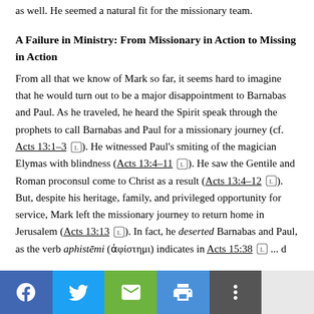as well. He seemed a natural fit for the missionary team.
A Failure in Ministry: From Missionary in Action to Missing in Action
From all that we know of Mark so far, it seems hard to imagine that he would turn out to be a major disappointment to Barnabas and Paul. As he traveled, he heard the Spirit speak through the prophets to call Barnabas and Paul for a missionary journey (cf. Acts 13:1–3). He witnessed Paul's smiting of the magician Elymas with blindness (Acts 13:4–11). He saw the Gentile and Roman proconsul come to Christ as a result (Acts 13:4–12). But, despite his heritage, family, and privileged opportunity for service, Mark left the missionary journey to return home in Jerusalem (Acts 13:13). In fact, he deserted Barnabas and Paul, as the verb aphistēmi (ἀφίστημι) indicates in Acts 15:38 ...